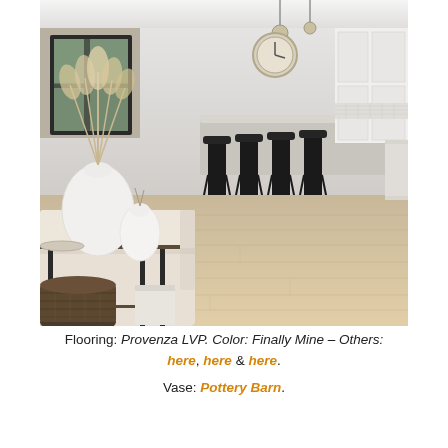[Figure (photo): Interior photo of a modern open-plan living room and kitchen. In the foreground, a console table with a large white round vase containing dried pampas grass, a smaller white ceramic vase, and woven basket storage beneath. A cream sofa is partially visible. The background shows a long kitchen island with black bar stools, white cabinetry, a herringbone tile backsplash, pendant lights, and a large round clock on the wall. The floor throughout is a light wood-look LVP plank flooring.]
Flooring: Provenza LVP. Color: Finally Mine – Others: here, here & here. Vase: Pottery Barn.